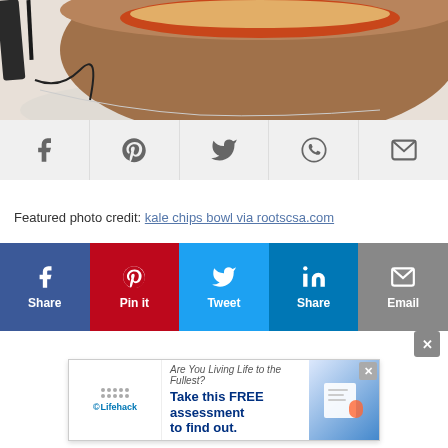[Figure (photo): Close-up photo of a brown ceramic bowl containing a baked dish with melted cheese on top, placed on a white cloth]
[Figure (infographic): Gray social share bar with Facebook, Pinterest, Twitter, WhatsApp, and Email icons]
Featured photo credit: kale chips bowl via rootscsa.com
[Figure (infographic): Colored social share buttons: Share (Facebook, blue), Pin it (Pinterest, red), Tweet (Twitter, light blue), Share (LinkedIn, blue), Email (gray)]
[Figure (screenshot): Advertisement banner: Lifehack - Are You Living Life to the Fullest? Take this FREE assessment to find out.]